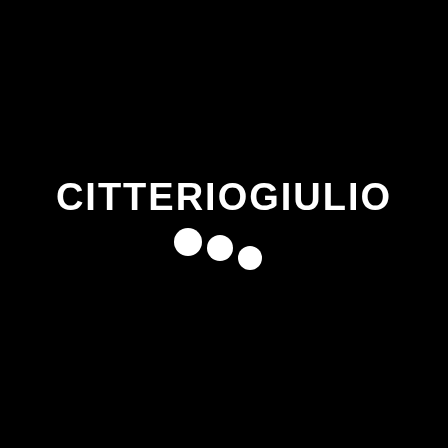[Figure (logo): CITTERIOGIULIO logo in white bold uppercase text on black background, with three white dots in a descending diagonal pattern below the text]